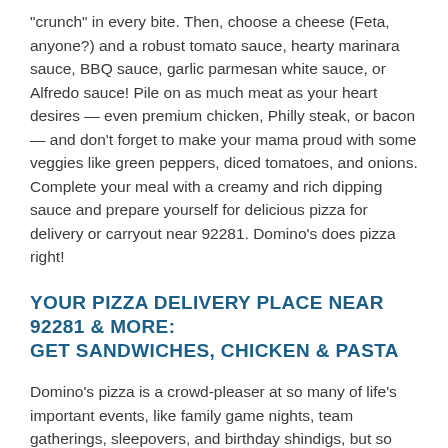"crunch" in every bite. Then, choose a cheese (Feta, anyone?) and a robust tomato sauce, hearty marinara sauce, BBQ sauce, garlic parmesan white sauce, or Alfredo sauce! Pile on as much meat as your heart desires — even premium chicken, Philly steak, or bacon — and don't forget to make your mama proud with some veggies like green peppers, diced tomatoes, and onions. Complete your meal with a creamy and rich dipping sauce and prepare yourself for delicious pizza for delivery or carryout near 92281. Domino's does pizza right!
YOUR PIZZA DELIVERY PLACE NEAR 92281 & MORE: GET SANDWICHES, CHICKEN & PASTA
Domino's pizza is a crowd-pleaser at so many of life's important events, like family game nights, team gatherings, sleepovers, and birthday shindigs, but so are other delicious foods. And sometimes your tastebuds want something other than pizza, and that's okay. That's why we also have salads, hot sandwiches, chicken wings, baked pasta, and sweet-tooth satisfying desserts for delivery and takeout near 92281. Enjoy tender bites of lightly breaded specialty chicken covered in BBQ sauce, or order finger-